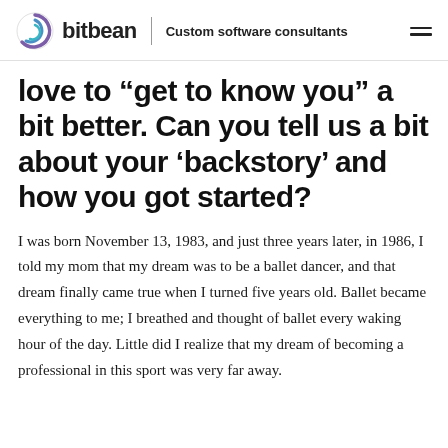bitbean | Custom software consultants
love to “get to know you” a bit better. Can you tell us a bit about your ‘backstory’ and how you got started?
I was born November 13, 1983, and just three years later, in 1986, I told my mom that my dream was to be a ballet dancer, and that dream finally came true when I turned five years old. Ballet became everything to me; I breathed and thought of ballet every waking hour of the day. Little did I realize that my dream of becoming a professional in this sport was very far away.